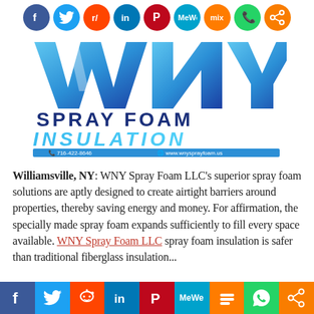[Figure (logo): WNY Spray Foam Insulation logo with social share icons row at top]
Williamsville, NY: WNY Spray Foam LLC's superior spray foam solutions are aptly designed to create airtight barriers around properties, thereby saving energy and money. For affirmation, the specially made spray foam expands sufficiently to fill every space available. WNY Spray Foam LLC spray foam insulation is safer than traditional fiberglass insulation...
[Figure (infographic): Bottom social sharing bar with colored icon buttons for Facebook, Twitter, Reddit, LinkedIn, Pinterest, MeWe, Mix, WhatsApp, Share]